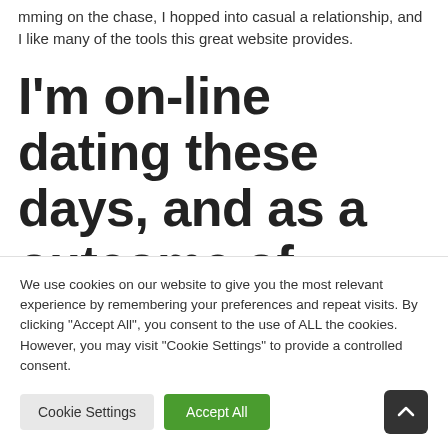Trimming on the chase, I hopped into casual a relationship, and I like many of the tools this great website provides.
I'm on-line dating these days, and as a outcome of application for this sort of...
We use cookies on our website to give you the most relevant experience by remembering your preferences and repeat visits. By clicking "Accept All", you consent to the use of ALL the cookies. However, you may visit "Cookie Settings" to provide a controlled consent.